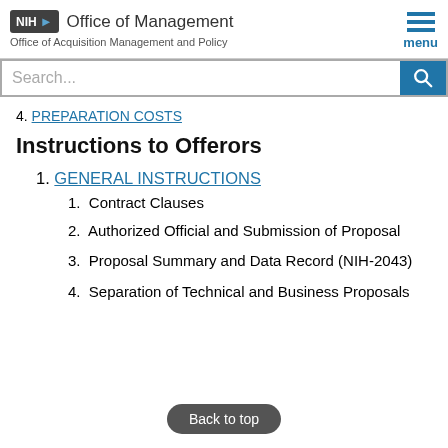NIH Office of Management — Office of Acquisition Management and Policy
4. PREPARATION COSTS
Instructions to Offerors
1. GENERAL INSTRUCTIONS
1. Contract Clauses
2. Authorized Official and Submission of Proposal
3. Proposal Summary and Data Record (NIH-2043)
4. Separation of Technical and Business Proposals
Back to top